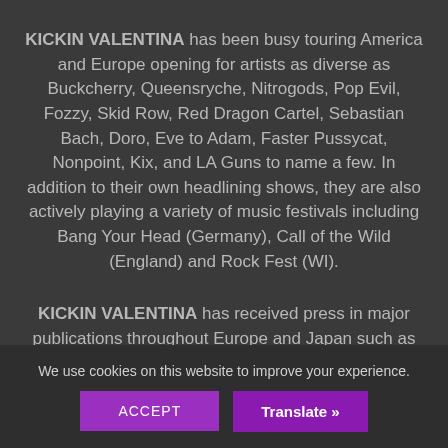KICKIN VALENTINA has been busy touring America and Europe opening for artists as diverse as Buckcherry, Queensryche, Nitrogods, Pop Evil, Fozzy, Skid Row, Red Dragon Cartel, Sebastian Bach, Doro, Eve to Adam, Faster Pussycat, Nonpoint, Kix, and LA Guns to name a few. In addition to their own headlining shows, they are also actively playing a variety of music festivals including Bang Your Head (Germany), Call of the Wild (England) and Rock Fest (WI).
KICKIN VALENTINA has received press in major publications throughout Europe and Japan such as Burrn, Young Guitar, Classic Rock, Sweden Rock, Legacy,
We use cookies on this website to improve your experience.
ACCEPT
Translate »